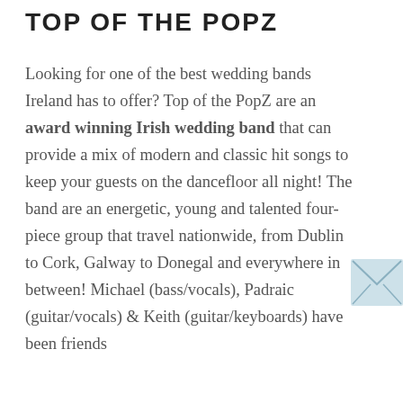TOP OF THE POPZ
Looking for one of the best wedding bands Ireland has to offer? Top of the PopZ are an award winning Irish wedding band that can provide a mix of modern and classic hit songs to keep your guests on the dancefloor all night! The band are an energetic, young and talented four-piece group that travel nationwide, from Dublin to Cork, Galway to Donegal and everywhere in between! Michael (bass/vocals), Padraic (guitar/vocals) & Keith (guitar/keyboards) have been friends
[Figure (illustration): Light blue envelope icon on the right side margin]